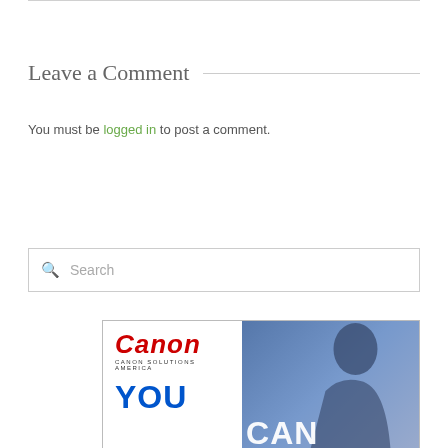Leave a Comment
You must be logged in to post a comment.
Search
[Figure (illustration): Canon Solutions America advertisement with Canon logo in red italic text, 'CANON SOLUTIONS AMERICA' subtext, large blue 'YOU CAN' text, and a silhouetted figure against a blue background.]